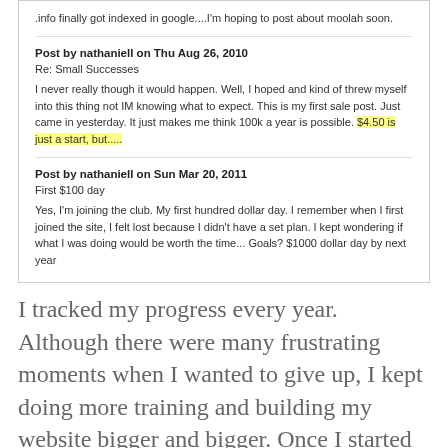.info finally got indexed in google....I'm hoping to post about moolah soon.
Post by nathaniell on Thu Aug 26, 2010
Re: Small Successes
I never really though it would happen. Well, I hoped and kind of threw myself into this thing not IM knowing what to expect. This is my first sale post. Just came in yesterday. It just makes me think 100k a year is possible. $4.50 is just a start, but.....
Post by nathaniell on Sun Mar 20, 2011
First $100 day
Yes, I'm joining the club. My first hundred dollar day. I remember when I first joined the site, I felt lost because I didn't have a set plan. I kept wondering if what I was doing would be worth the time... Goals? $1000 dollar day by next year
I tracked my progress every year. Although there were many frustrating moments when I wanted to give up, I kept doing more training and building my website bigger and bigger. Once I started seeing some tiny results, I really kicked it into overdrive.